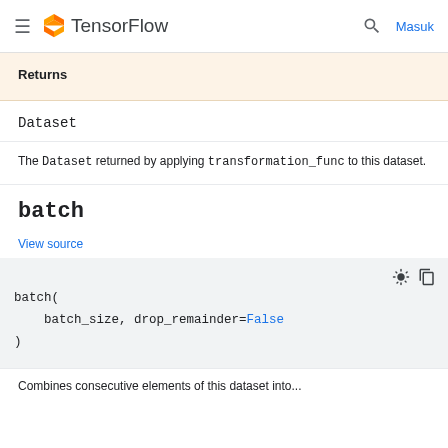TensorFlow — Masuk
Returns
Dataset
The Dataset returned by applying transformation_func to this dataset.
batch
View source
batch(
    batch_size, drop_remainder=False
)
Combines consecutive elements of this dataset into...